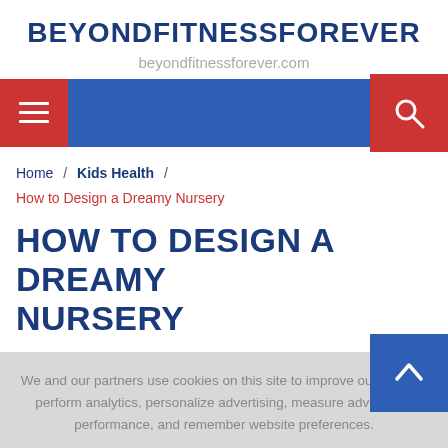BEYONDFITNESSFOREVER
beyondfitnessforever.com
[Figure (screenshot): Navigation bar with hamburger menu button on left (red background) and search icon on right (red background) on blue background]
Home / Kids Health / How to Design a Dreamy Nursery
HOW TO DESIGN A DREAMY NURSERY
We and our partners use cookies on this site to improve our service, perform analytics, personalize advertising, measure advertising performance, and remember website preferences.